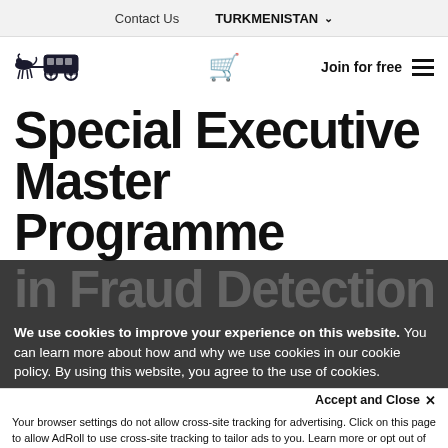Contact Us   TURKMENISTAN
[Figure (logo): Horse-drawn carriage logo icon]
Join for free
Special Executive Master Programme
in Fraud Detection,
We use cookies to improve your experience on this website. You can learn more about how and why we use cookies in our cookie policy. By using this website, you agree to the use of cookies.
Accept and Close ✕
Your browser settings do not allow cross-site tracking for advertising. Click on this page to allow AdRoll to use cross-site tracking to tailor ads to you. Learn more or opt out of this AdRoll tracking by clicking here. This message only appears once.